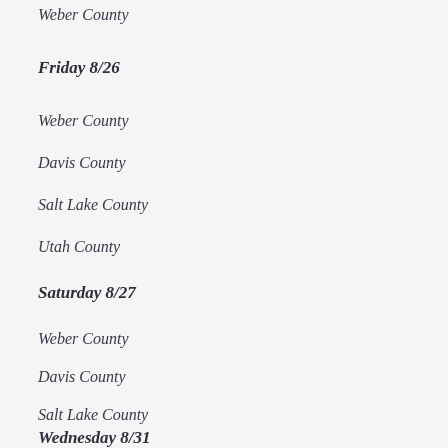Weber County
Friday 8/26
Weber County
Davis County
Salt Lake County
Utah County
Saturday 8/27
Weber County
Davis County
Salt Lake County
Utah County
Wednesday 8/31